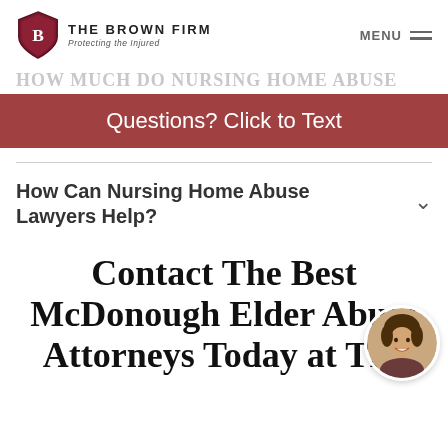THE BROWN FIRM — Protecting the Injured | MENU
HOW MUCH DO NURSING HOME ABUSE
Questions? Click to Text
How Can Nursing Home Abuse Lawyers Help?
Contact The Best McDonough Elder Abuse Attorneys Today at The